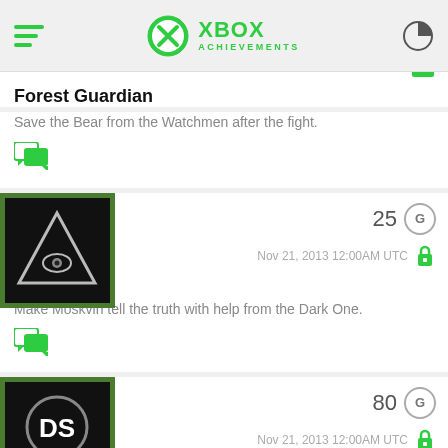XBOX ACHIEVEMENTS
Forest Guardian
Save the Bear from the Watchmen after the fight.
[Figure (screenshot): Green chat/comment bubble icon]
[Figure (illustration): Achievement badge: illuminati eye triangle on dark background]
25 G  Nov 21, 2013 12:00AM UTC
Revelation
Make Moskvin tell the truth with help from the Dark One.
[Figure (screenshot): Green chat/comment bubble icon]
[Figure (illustration): Achievement badge: DS logo on dark circle]
80 G  Nov 21, 2013 12:00AM UTC